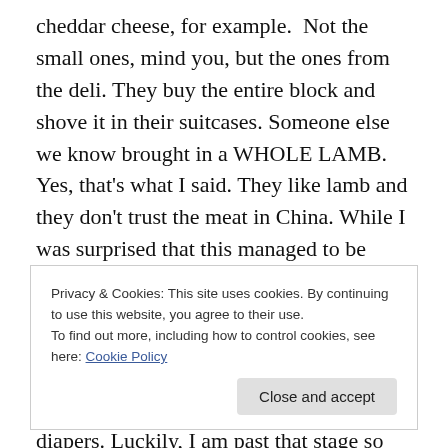cheddar cheese, for example.  Not the small ones, mind you, but the ones from the deli. They buy the entire block and shove it in their suitcases. Someone else we know brought in a WHOLE LAMB. Yes, that's what I said. They like lamb and they don't trust the meat in China. While I was surprised that this managed to be something one could bring in a suitcase, I was also a little jealous that I hadn't thought of it first. Sometimes desperation will do that to you. If you have a baby you will certainly smuggle baby formula and diapers. Luckily, I am past that stage so instead I have considered bringing back Maryland crab
Privacy & Cookies: This site uses cookies. By continuing to use this website, you agree to their use.
To find out more, including how to control cookies, see here: Cookie Policy